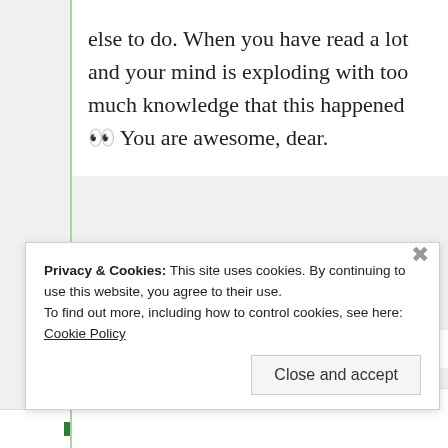do when I have nothing else to do. When you have read a lot and your mind is exploding with too much knowledge that this happened 👀 You are awesome, dear.
★ Like
Privacy & Cookies: This site uses cookies. By continuing to use this website, you agree to their use. To find out more, including how to control cookies, see here: Cookie Policy
Close and accept